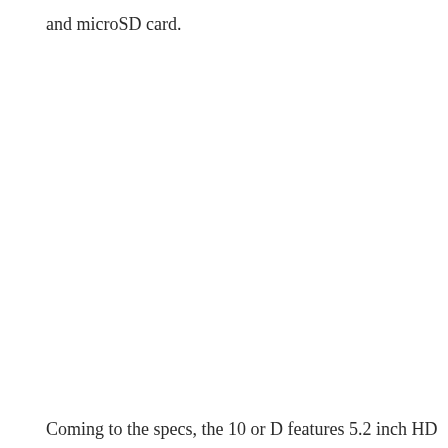and microSD card.
Coming to the specs, the 10 or D features 5.2 inch HD